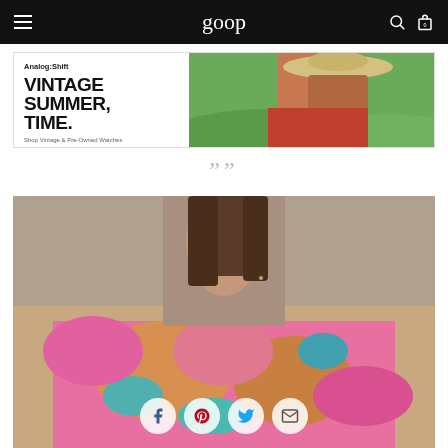goop navigation header
[Figure (photo): Analog:Shift advertisement banner showing a woman in a wide-brim hat with text 'VINTAGE SUMMER, TIME.' and subtitle 'Analog:Shift' and CTA 'Shop Vintage & Pre-Owned Watches']
””
[Figure (photo): Close-up photo of a woman wearing a colorful pink and orange floral/paisley patterned garment, with social sharing icons (Facebook, Pinterest, Twitter, Email) overlaid at the bottom]